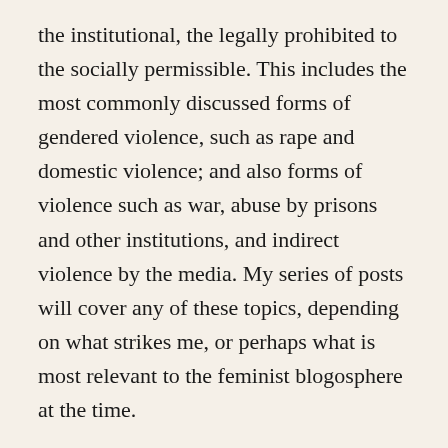the institutional, the legally prohibited to the socially permissible. This includes the most commonly discussed forms of gendered violence, such as rape and domestic violence; and also forms of violence such as war, abuse by prisons and other institutions, and indirect violence by the media. My series of posts will cover any of these topics, depending on what strikes me, or perhaps what is most relevant to the feminist blogosphere at the time.
If this all sounds kind of vague to you all, that's on purpose. I'm actually not sure how these next eight weeks will go, or what kind of writing I will do. I'm hoping to let the writing come